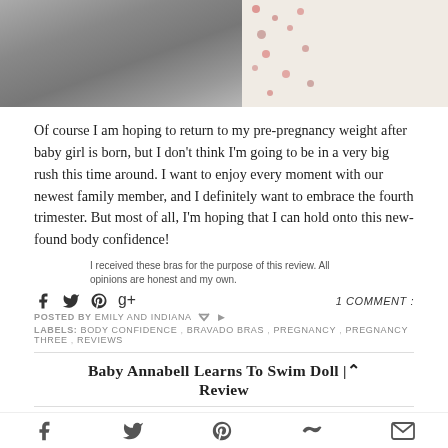[Figure (photo): Top portion of a photo showing gray knit fabric and white floral fabric]
Of course I am hoping to return to my pre-pregnancy weight after baby girl is born, but I don't think I'm going to be in a very big rush this time around. I want to enjoy every moment with our newest family member, and I definitely want to embrace the fourth trimester. But most of all, I'm hoping that I can hold onto this new-found body confidence!
I received these bras for the purpose of this review. All opinions are honest and my own.
1 COMMENT :
POSTED BY EMILY AND INDIANA
LABELS: BODY CONFIDENCE , BRAVADO BRAS , PREGNANCY , PREGNANCY THREE , REVIEWS
Baby Annabell Learns To Swim Doll | Review